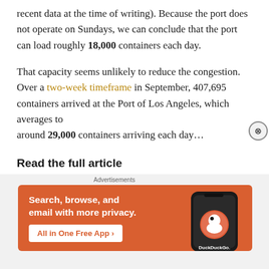recent data at the time of writing). Because the port does not operate on Sundays, we can conclude that the port can load roughly 18,000 containers each day.
That capacity seems unlikely to reduce the congestion. Over a two-week timeframe in September, 407,695 containers arrived at the Port of Los Angeles, which averages to around 29,000 containers arriving each day...
Read the full article
[Figure (other): DuckDuckGo advertisement banner: orange background with white text 'Search, browse, and email with more privacy.' and button 'All in One Free App', alongside a smartphone displaying the DuckDuckGo logo and name.]